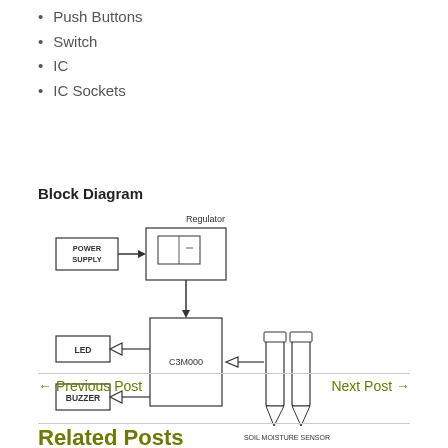Push Buttons
Switch
IC
IC Sockets
Block Diagram
[Figure (schematic): Block diagram showing POWER SUPPLY connected via arrow to Regulator block, which connects down to C3M000 IC block. LED and BUZZER blocks connect via arrows from C3M000. A SOIL MOISTURE SENSOR (two probe electrodes) connects via arrow into C3M000.]
← Previous Post
Next Post →
Related Posts